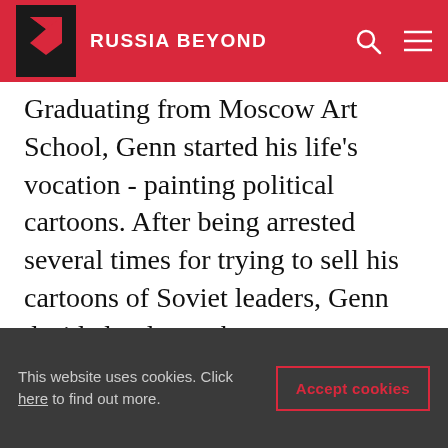RUSSIA BEYOND
Graduating from Moscow Art School, Genn started his life's vocation - painting political cartoons. After being arrested several times for trying to sell his cartoons of Soviet leaders, Genn decided to leave the country.
In 1991, at the age of 19, Genn arrived in Los Angeles and immediately started suggesting his works to all the newspapers. Luckily, the Los Angeles Times found interest in them. At the same time, the USSR was collapsing and Soviet related topics were in high demand among different
This website uses cookies. Click here to find out more.
Accept cookies